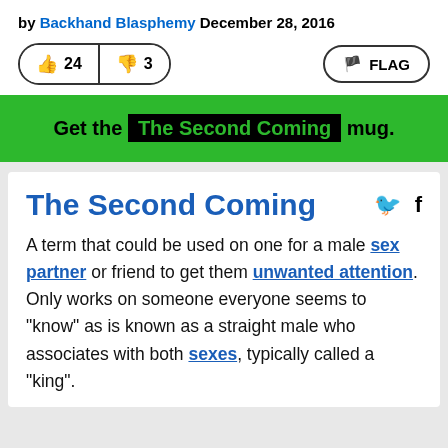by Backhand Blasphemy December 28, 2016
[Figure (infographic): Vote buttons showing thumbs up 24, thumbs down 3, and a FLAG button]
Get the The Second Coming mug.
The Second Coming
A term that could be used on one for a male sex partner or friend to get them unwanted attention. Only works on someone everyone seems to "know" as is known as a straight male who associates with both sexes, typically called a "king".